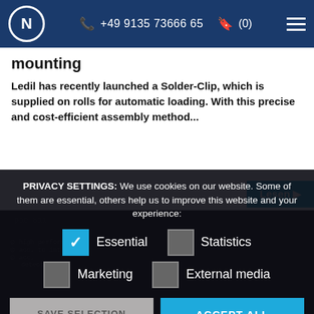N +49 9135 73666 65 (0) ≡
mounting
Ledil has recently launched a Solder-Clip, which is supplied on rolls for automatic loading. With this precise and cost-efficient assembly method...
PRIVACY SETTINGS: We use cookies on our website. Some of them are essential, others help us to improve this website and your experience:
Essential (checked), Statistics (unchecked)
Marketing (unchecked), External media (unchecked)
SAVE SELECTION   ACCEPT ALL
Individual cookie settings   Cookie Details   Datenschutzerklaerung   Imprint